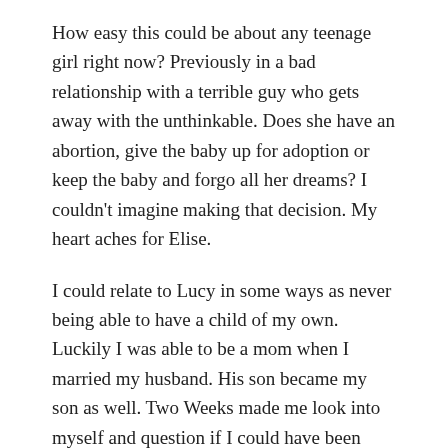How easy this could be about any teenage girl right now? Previously in a bad relationship with a terrible guy who gets away with the unthinkable. Does she have an abortion, give the baby up for adoption or keep the baby and forgo all her dreams? I couldn't imagine making that decision. My heart aches for Elise.
I could relate to Lucy in some ways as never being able to have a child of my own. Luckily I was able to be a mom when I married my husband. His son became my son as well. Two Weeks made me look into myself and question if I could have been strong enough to go through so many failed adoption attempts. It might have shaken my belief in God like it did Lucy's.
There is a third storyline in Two Weeks not mentioned